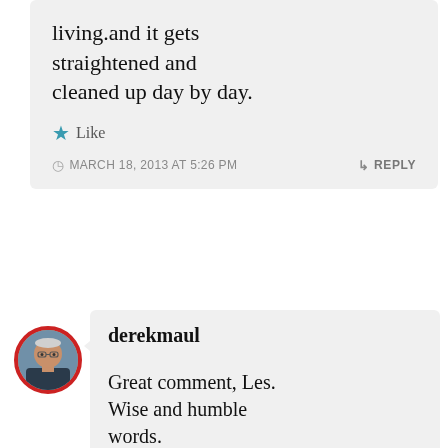living.and it gets straightened and cleaned up day by day.
★ Like
MARCH 18, 2013 AT 5:26 PM
↳ REPLY
[Figure (photo): Circular avatar photo of a man with glasses, framed with a red circular border]
derekmaul
Great comment, Les. Wise and humble words. Peace – DEREK